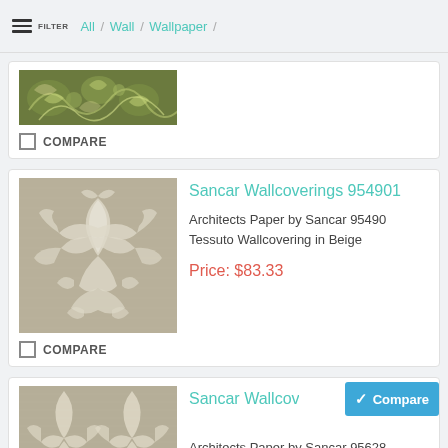FILTER  All / Wall / Wallpaper /
[Figure (photo): Partial green floral wallpaper pattern thumbnail at top]
COMPARE
Sancar Wallcoverings 954901
Architects Paper by Sancar 95490 Tessuto Wallcovering in Beige
Price: $83.33
[Figure (photo): Beige/taupe damask floral wallpaper pattern thumbnail for product 954901]
COMPARE
Sancar Wallcoverings 9
Architects Paper by Sancar 95628 Tessuto Wallcovering in Beige
Price: $83.33
[Figure (photo): Beige/taupe damask floral wallpaper pattern thumbnail for product 95628]
Compare